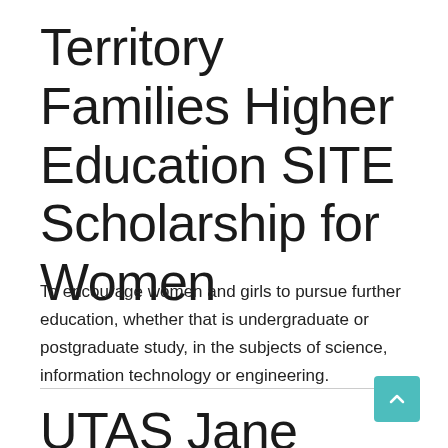Territory Families Higher Education SITE Scholarship for Women
To encourage women and girls to pursue further education, whether that is undergraduate or postgraduate study, in the subjects of science, information technology or engineering.
UTAS Jane M